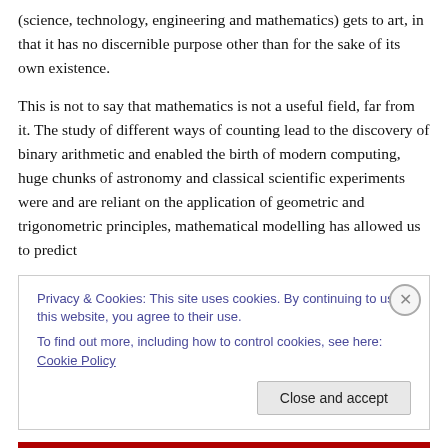(science, technology, engineering and mathematics) gets to art, in that it has no discernible purpose other than for the sake of its own existence.
This is not to say that mathematics is not a useful field, far from it. The study of different ways of counting lead to the discovery of binary arithmetic and enabled the birth of modern computing, huge chunks of astronomy and classical scientific experiments were and are reliant on the application of geometric and trigonometric principles, mathematical modelling has allowed us to predict
Privacy & Cookies: This site uses cookies. By continuing to use this website, you agree to their use.
To find out more, including how to control cookies, see here: Cookie Policy